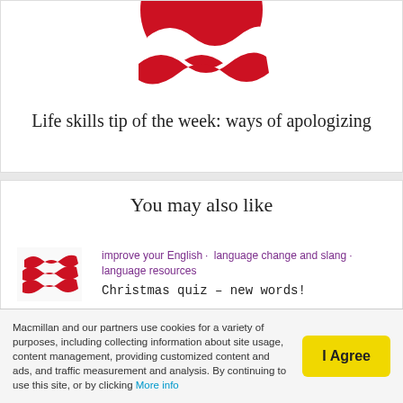[Figure (logo): Macmillan Education logo / illustration — red circular emblem with white wave shapes, partially visible at top]
Life skills tip of the week: ways of apologizing
You may also like
[Figure (logo): Macmillan red wave logo thumbnail]
improve your English · language change and slang · language resources
Christmas quiz – new words!
[Figure (logo): Macmillan red wave logo thumbnail]
improve your English · Learn English
Christmas comes but once
Macmillan and our partners use cookies for a variety of purposes, including collecting information about site usage, content management, providing customized content and ads, and traffic measurement and analysis. By continuing to use this site, or by clicking More info